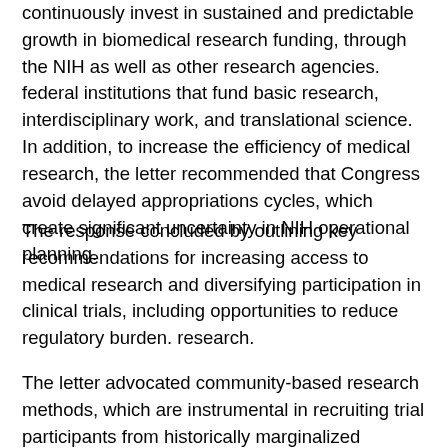continuously invest in sustained and predictable growth in biomedical research funding, through the NIH as well as other research agencies. federal institutions that fund basic research, interdisciplinary work, and translational science. In addition, to increase the efficiency of medical research, the letter recommended that Congress avoid delayed appropriations cycles, which create significant uncertainty in NIH operational planning.
The response concluded by outlining key recommendations for increasing access to medical research and diversifying participation in clinical trials, including opportunities to reduce regulatory burden. research.
The letter advocated community-based research methods, which are instrumental in recruiting trial participants from historically marginalized communities. The letter stated: “The AAMC encourages community participation in the design, implementation and evaluation of clinical research and recommends the specific inclusion of local community partners in discussions regarding the